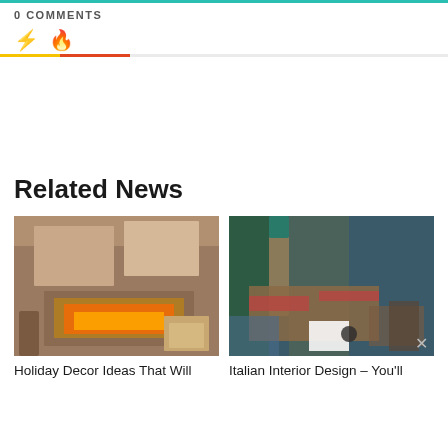0 COMMENTS
Related News
[Figure (photo): Interior room with fireplace lit, a chair with blanket, and decorative coffee table]
[Figure (photo): Italian interior design living room with sofa, floor lamp, and large windows]
Holiday Decor Ideas That Will
Italian Interior Design – You'll